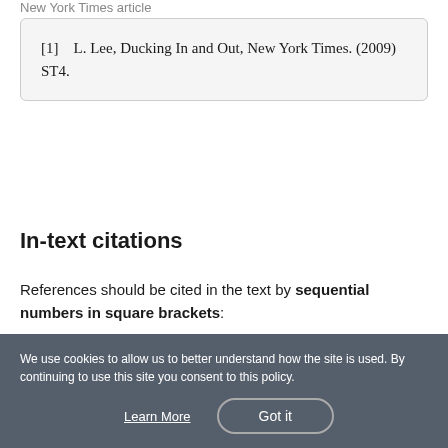New York Times article
[1]    L. Lee, Ducking In and Out, New York Times. (2009) ST4.
In-text citations
References should be cited in the text by sequential numbers in square brackets:
This sentence cites one reference [1].
We use cookies to allow us to better understand how the site is used. By continuing to use this site you consent to this policy.